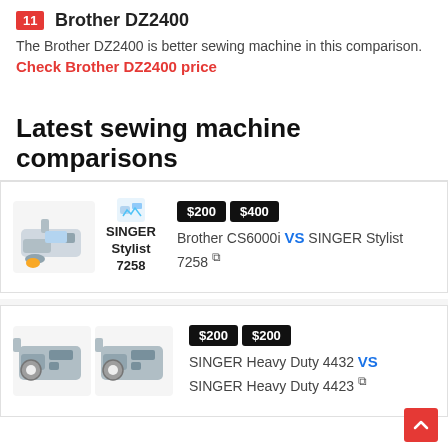11 Brother DZ2400
The Brother DZ2400 is better sewing machine in this comparison.
Check Brother DZ2400 price
Latest sewing machine comparisons
[Figure (infographic): Comparison card: sewing machine image and SINGER Stylist 7258 label on left; price badges $200 and $400 with text 'Brother CS6000i VS SINGER Stylist 7258' on right]
[Figure (infographic): Comparison card: two sewing machine images on left; price badges $200 and $200 with text 'SINGER Heavy Duty 4432 VS SINGER Heavy Duty 4423' on right]